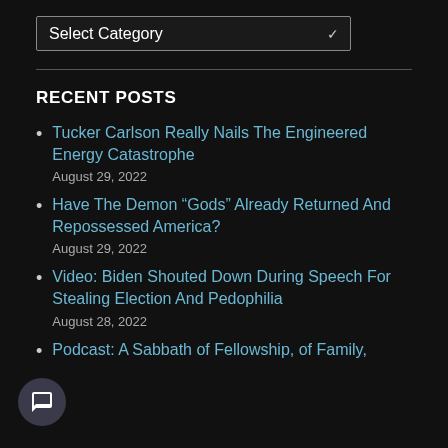Select Category
RECENT POSTS
Tucker Carlson Really Nails The Engineered Energy Catastrophe
August 29, 2022
Have The Demon “Gods” Already Returned And Repossessed America?
August 29, 2022
Video: Biden Shouted Down During Speech For Stealing Election And Pedophilia
August 28, 2022
Podcast: A Sabbath of Fellowship, of Family,